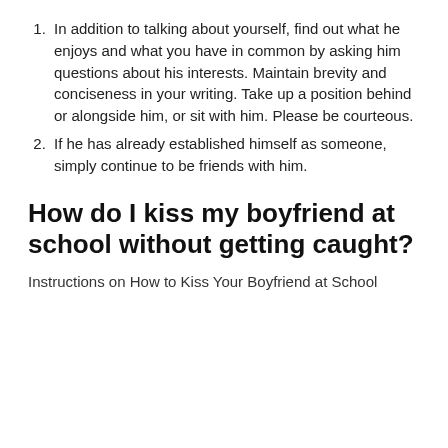In addition to talking about yourself, find out what he enjoys and what you have in common by asking him questions about his interests. Maintain brevity and conciseness in your writing. Take up a position behind or alongside him, or sit with him. Please be courteous.
If he has already established himself as someone, simply continue to be friends with him.
How do I kiss my boyfriend at school without getting caught?
Instructions on How to Kiss Your Boyfriend at School